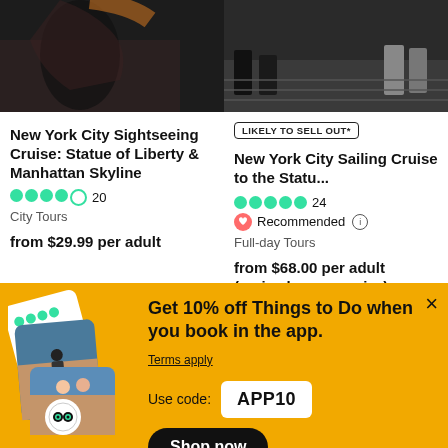[Figure (photo): Photo of people on a cruise/boat, dark tones, left card image]
New York City Sightseeing Cruise: Statue of Liberty & Manhattan Skyline
20 reviews, 4 out of 5 stars
City Tours
from $29.99 per adult
[Figure (photo): Photo of people on a boat, right card image]
LIKELY TO SELL OUT*
New York City Sailing Cruise to the Statu...
24 reviews, 5 out of 5 stars
Recommended
Full-day Tours
from $68.00 per adult (varies by group size)
[Figure (infographic): Promotional banner with phone mockup showing TripAdvisor app]
Get 10% off Things to Do when you book in the app.
Terms apply
Use code: APP10
Shop now